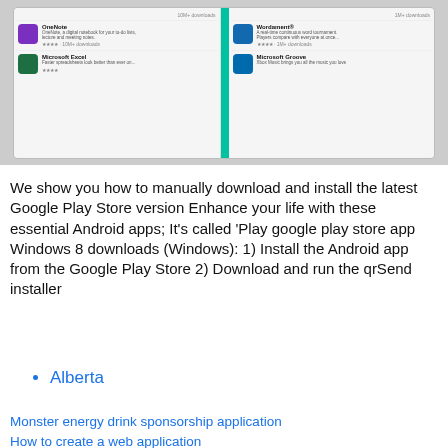[Figure (screenshot): Screenshot of a Windows/Android app store interface showing apps: OneNote, Wordament, Microsoft Excel, Microsoft Groove, with star ratings and download counts]
We show you how to manually download and install the latest Google Play Store version Enhance your life with these essential Android apps; It's called 'Play google play store app Windows 8 downloads (Windows): 1) Install the Android app from the Google Play Store 2) Download and run the qrSend installer
Alberta
Monster energy drink sponsorship application
How to create a web application